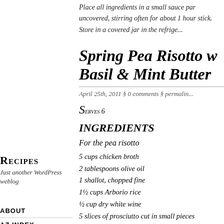Place all ingredients in a small sauce pan uncovered, stirring often for about 1 hour stick. Store in a covered jar in the refrige...
Spring Pea Risotto w Basil & Mint Butter
April 25th, 2011 § 0 comments § permalink
Serves 6
INGREDIENTS
For the pea risotto
5 cups chicken broth
2 tablespoons olive oil
1 shallot, chopped fine
1½ cups Arborio rice
½ cup dry white wine
5 slices of prosciutto cut in small pieces
Recipes
Just another WordPress weblog
ABOUT
AZ INDEX
FEED